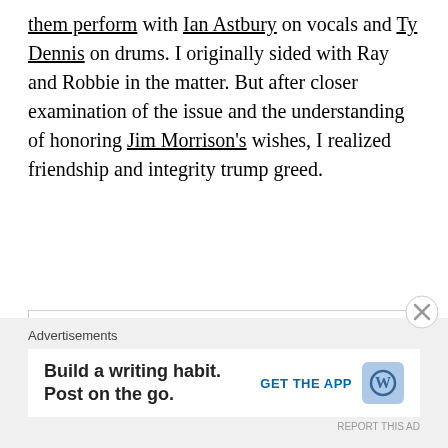them perform with Ian Astbury on vocals and Ty Dennis on drums. I originally sided with Ray and Robbie in the matter. But after closer examination of the issue and the understanding of honoring Jim Morrison's wishes, I realized friendship and integrity trump greed.
[Figure (other): Broken/missing image placeholder with small icon]
Advertisements
Build a writing habit. Post on the go. GET THE APP [WordPress logo] REPORT THIS AD